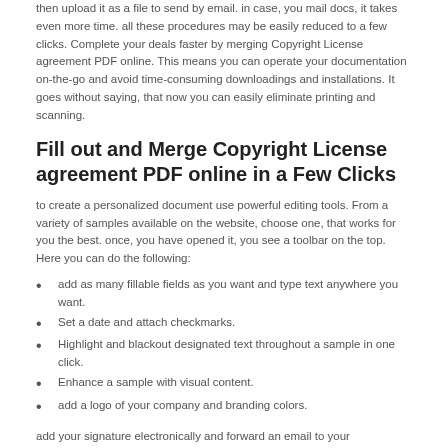then upload it as a file to send by email. in case, you mail docs, it takes even more time. all these procedures may be easily reduced to a few clicks. Complete your deals faster by merging Copyright License agreement PDF online. This means you can operate your documentation on-the-go and avoid time-consuming downloadings and installations. It goes without saying, that now you can easily eliminate printing and scanning.
Fill out and Merge Copyright License agreement PDF online in a Few Clicks
to create a personalized document use powerful editing tools. From a variety of samples available on the website, choose one, that works for you the best. once, you have opened it, you see a toolbar on the top. Here you can do the following:
add as many fillable fields as you want and type text anywhere you want.
Set a date and attach checkmarks.
Highlight and blackout designated text throughout a sample in one click.
Enhance a sample with visual content.
add a logo of your company and branding colors.
add your signature electronically and forward an email to your stakeholders with a request for signing. Type, draw or upload your signature form any-internet-connected device.